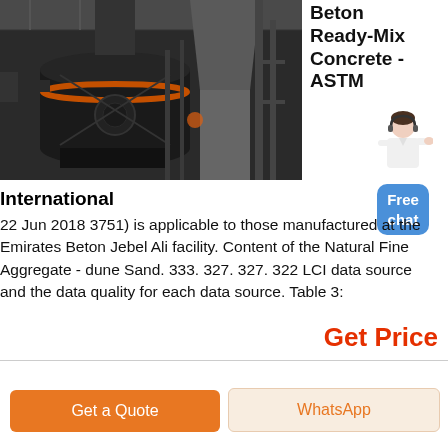[Figure (photo): Industrial milling/grinding machinery in a factory setting, showing large black cylindrical equipment with pipes and a metal structural frame.]
Beton Ready-Mix Concrete - ASTM
[Figure (illustration): Customer service person with chat button reading 'Free chat']
International
22 Jun 2018 3751) is applicable to those manufactured at the Emirates Beton Jebel Ali facility. Content of the Natural Fine Aggregate - dune Sand. 333. 327. 327. 322 LCI data source and the data quality for each data source. Table 3:
Get Price
Get a Quote
WhatsApp